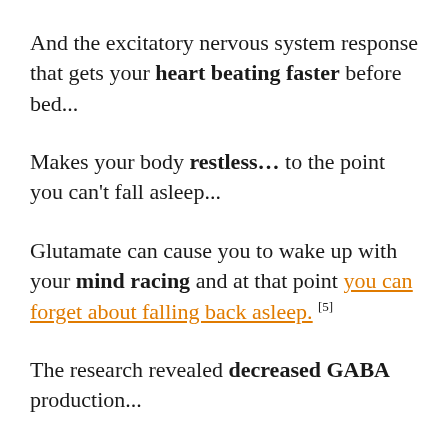And the excitatory nervous system response that gets your heart beating faster before bed...
Makes your body restless... to the point you can't fall asleep...
Glutamate can cause you to wake up with your mind racing and at that point you can forget about falling back asleep. [5]
The research revealed decreased GABA production...
Met with increased Glutamate production